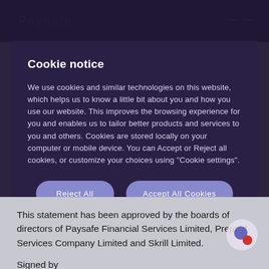Cookie notice
We use cookies and similar technologies on this website, which helps us to know a little bit about you and how you use our website. This improves the browsing experience for you and enables us to tailor better products and services to you and others. Cookies are stored locally on your computer or mobile device. You can Accept or Reject all cookies, or customize your choices using "Cookie settings".
Reject All
Accept All Cookies
Cookies Settings
This statement has been approved by the boards of directors of Paysafe Financial Services Limited, Prepaid Services Company Limited and Skrill Limited.
Signed by